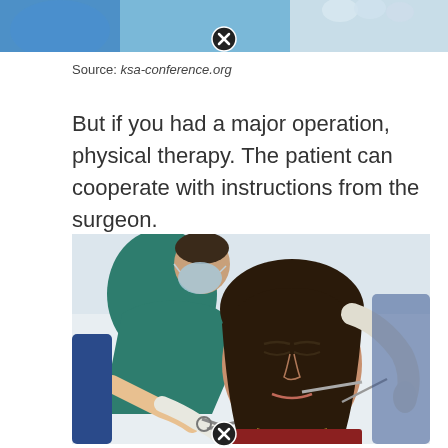[Figure (photo): Top portion of a medical/surgical photo showing blue-gloved hands, partially visible, cropped at top of page]
Source: ksa-conference.org
But if you had a major operation, physical therapy. The patient can cooperate with instructions from the surgeon.
[Figure (photo): A male dental/medical professional wearing teal scrubs and a face mask works on a female patient who is seated in a dental chair. The professional holds surgical instruments near her face. A gloved hand is also visible at the right side. The patient appears calm.]